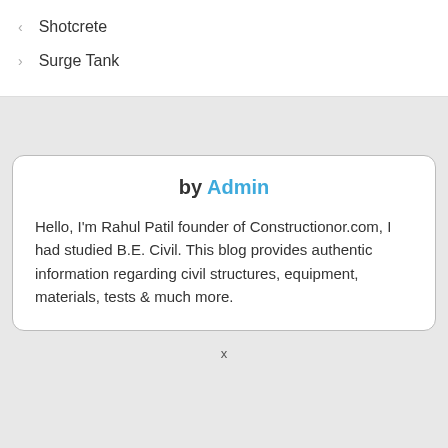Shotcrete
Surge Tank
by Admin
Hello, I'm Rahul Patil founder of Constructionor.com, I had studied B.E. Civil. This blog provides authentic information regarding civil structures, equipment, materials, tests & much more.
x